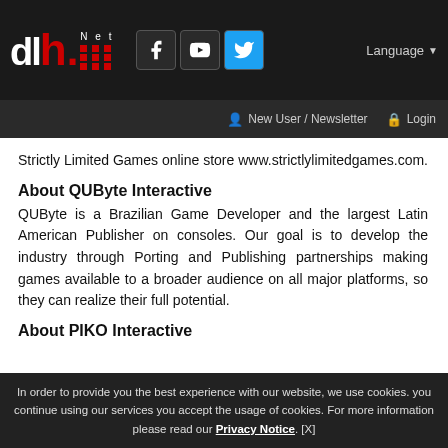dlh.Net | Facebook | YouTube | Twitter | Language | New User / Newsletter | Login
Strictly Limited Games online store www.strictlylimitedgames.com.
About QUByte Interactive
QUByte is a Brazilian Game Developer and the largest Latin American Publisher on consoles. Our goal is to develop the industry through Porting and Publishing partnerships making games available to a broader audience on all major platforms, so they can realize their full potential.
About PIKO Interactive
In order to provide you the best experience with our website, we use cookies. you continue using our services you accept the usage of cookies. For more information please read our Privacy Notice. [X]